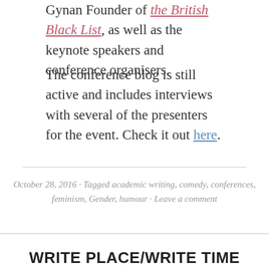Gynan Founder of the British Black List, as well as the keynote speakers and conference organisers.
The conference blog is still active and includes interviews with several of the presenters for the event. Check it out here.
October 28, 2016 · Tagged academic writing, comedy, conferences, feminism, Gender, humour · Leave a comment
WRITE PLACE/WRITE TIME
Canadian, Gender, and Teaching